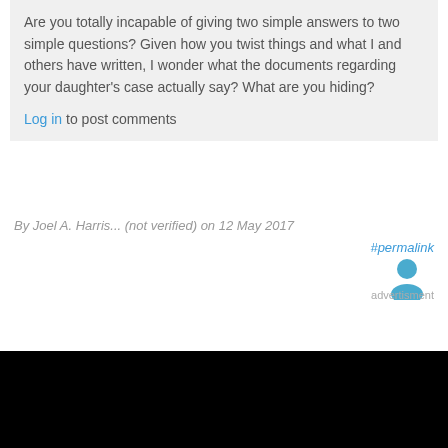Are you totally incapable of giving two simple answers to two simple questions? Given how you twist things and what I and others have written, I wonder what the documents regarding your daughter's case actually say? What are you hiding?
Log in to post comments
By Joel A. Harris... (not verified) on 12 May 2017
#permalink
[Figure (illustration): User avatar icon - silhouette of a person in blue/teal color]
advertisment